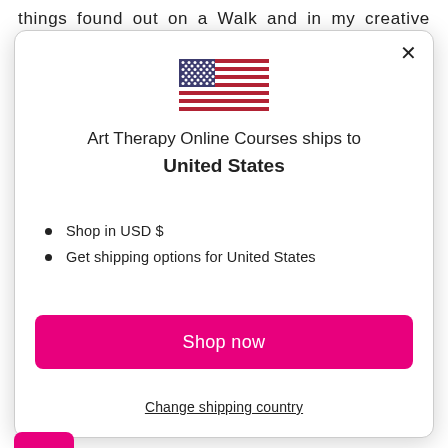things found out on a Walk and in my creative head
[Figure (screenshot): Modal dialog showing US flag, 'Art Therapy Online Courses ships to United States', list items for USD and shipping, Shop now button, and Change shipping country link]
Art Therapy Online Courses ships to United States
Shop in USD $
Get shipping options for United States
Shop now
Change shipping country